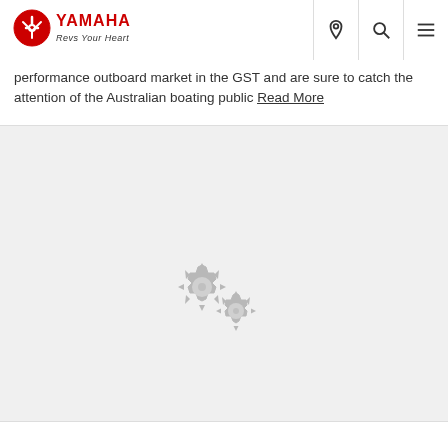[Figure (logo): Yamaha logo with 'Revs Your Heart' tagline in red and black]
performance outboard market in the GST and are sure to catch the attention of the Australian boating public Read More
[Figure (illustration): Two interlocked grey gear/cog icons indicating loading or processing state]